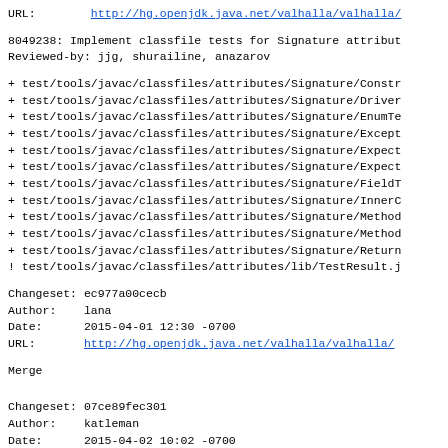URL:        http://hg.openjdk.java.net/valhalla/valhalla/
8049238: Implement classfile tests for Signature attribut
Reviewed-by: jjg, shurailine, anazarov
+ test/tools/javac/classfiles/attributes/Signature/Constr
+ test/tools/javac/classfiles/attributes/Signature/Driver
+ test/tools/javac/classfiles/attributes/Signature/EnumTe
+ test/tools/javac/classfiles/attributes/Signature/Except
+ test/tools/javac/classfiles/attributes/Signature/Expect
+ test/tools/javac/classfiles/attributes/Signature/Expect
+ test/tools/javac/classfiles/attributes/Signature/FieldT
+ test/tools/javac/classfiles/attributes/Signature/InnerC
+ test/tools/javac/classfiles/attributes/Signature/Method
+ test/tools/javac/classfiles/attributes/Signature/Method
+ test/tools/javac/classfiles/attributes/Signature/Return
! test/tools/javac/classfiles/attributes/lib/TestResult.j
Changeset: ec977a00cecb
Author:    lana
Date:      2015-04-01 12:30 -0700
URL:       http://hg.openjdk.java.net/valhalla/valhalla/
Merge
Changeset: 07ce89fec301
Author:    katleman
Date:      2015-04-02 10:02 -0700
URL:       http://hg.openjdk.java.net/valhalla/valhalla/